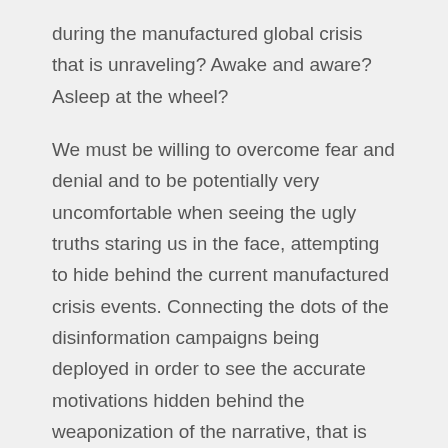during the manufactured global crisis that is unraveling? Awake and aware? Asleep at the wheel?
We must be willing to overcome fear and denial and to be potentially very uncomfortable when seeing the ugly truths staring us in the face, attempting to hide behind the current manufactured crisis events. Connecting the dots of the disinformation campaigns being deployed in order to see the accurate motivations hidden behind the weaponization of the narrative, that is becoming clearer in the mainstream news every day. We must also understand the roll out of the Pestilence Program as an attempt to activate a global bio spiritual weapon, which is being used to buy more time. This is a mass distraction to veil the